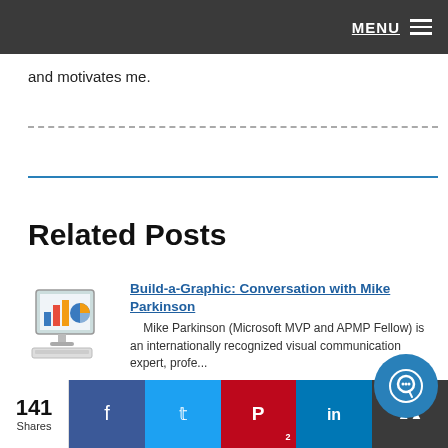MENU
and motivates me.
Related Posts
[Figure (illustration): Thumbnail image of a computer monitor displaying a bar and pie chart graphic]
Build-a-Graphic: Conversation with Mike Parkinson
Mike Parkinson (Microsoft MVP and APMP Fellow) is an internationally recognized visual communication expert, profe...
141 Shares | Facebook | Twitter | Pinterest 2 | LinkedIn | Email